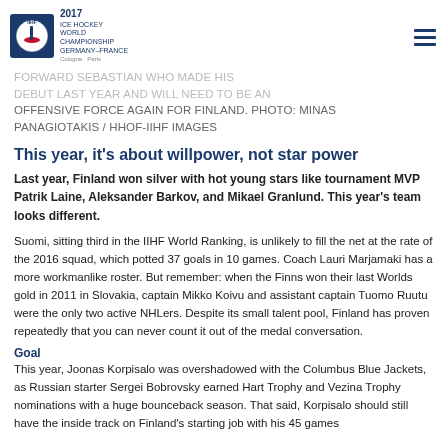FORWARD SEBASTIAN WHO MADE HIS DEBUT LAST YEAR AND WILL NEED TO BE AN OFFENSIVE FORCE AGAIN FOR FINLAND. PHOTO: MINAS PANAGIOTAKIS / HHOF-IIHF IMAGES
This year, it's about willpower, not star power
Last year, Finland won silver with hot young stars like tournament MVP Patrik Laine, Aleksander Barkov, and Mikael Granlund. This year's team looks different.
Suomi, sitting third in the IIHF World Ranking, is unlikely to fill the net at the rate of the 2016 squad, which potted 37 goals in 10 games. Coach Lauri Marjamaki has a more workmanlike roster. But remember: when the Finns won their last Worlds gold in 2011 in Slovakia, captain Mikko Koivu and assistant captain Tuomo Ruutu were the only two active NHLers. Despite its small talent pool, Finland has proven repeatedly that you can never count it out of the medal conversation.
Goal
This year, Joonas Korpisalo was overshadowed with the Columbus Blue Jackets, as Russian starter Sergei Bobrovsky earned Hart Trophy and Vezina Trophy nominations with a huge bounceback season. That said, Korpisalo should still have the inside track on Finland's starting job with his 45 games